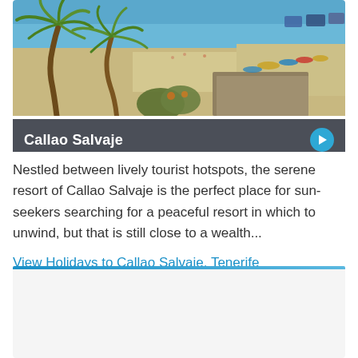[Figure (photo): Aerial/elevated view of Callao Salvaje beach resort in Tenerife, showing palm trees in foreground, beach with umbrellas and sunbathers, blue sea in background, with dark overlay banner showing location name 'Callao Salvaje' and a play button]
Callao Salvaje
Nestled between lively tourist hotspots, the serene resort of Callao Salvaje is the perfect place for sun-seekers searching for a peaceful resort in which to unwind, but that is still close to a wealth...
View Holidays to Callao Salvaje, Tenerife